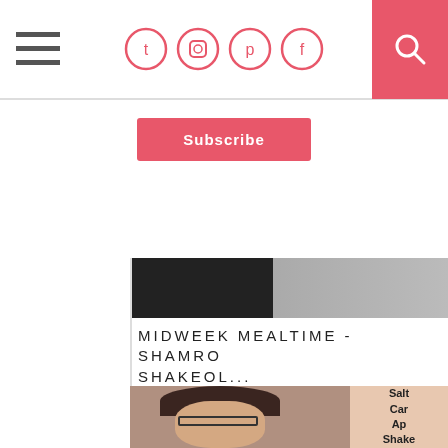Navigation bar with hamburger menu, social icons (Twitter, Instagram, Pinterest, Facebook), and search button
Subscribe
[Figure (photo): Partial top image strip showing a dark/black and grey texture, cropped]
MIDWEEK MEALTIME - SHAMRO SHAKEOL...
[Figure (photo): Woman with dark hair and glasses smiling, next to a sign reading 'Salt Cara App Shake']